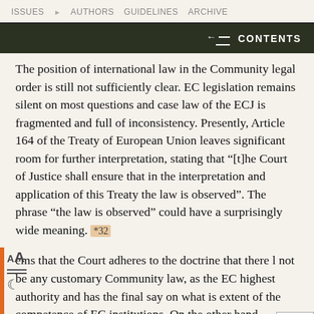ISSUES  AUTHORS  GUIDELINES  ARCHIVE
The position of international law in the Community legal order is still not sufficiently clear. EC legislation remains silent on most questions and case law of the ECJ is fragmented and full of inconsistency. Presently, Article 164 of the Treaty of European Union leaves significant room for further interpretation, stating that “[t]he Court of Justice shall ensure that in the interpretation and application of this Treaty the law is observed”. The phrase “the law is observed” could have a surprisingly wide meaning. *32
ems that the Court adheres to the doctrine that there l not be any customary Community law, as the EC highest authority and has the final say on what is extent of the competence of EC institutions. On the other hand, according to the opinion of M. Hilf, *33 the Court no